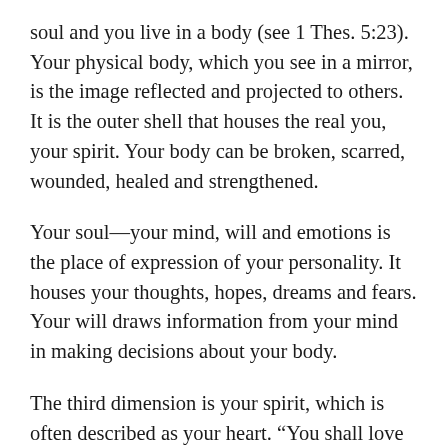soul and you live in a body (see 1 Thes. 5:23). Your physical body, which you see in a mirror, is the image reflected and projected to others. It is the outer shell that houses the real you, your spirit. Your body can be broken, scarred, wounded, healed and strengthened.
Your soul—your mind, will and emotions is the place of expression of your personality. It houses your thoughts, hopes, dreams and fears. Your will draws information from your mind in making decisions about your body.
The third dimension is your spirit, which is often described as your heart. “You shall love the Lord your God with all your heart, and with all your soul, and with all your mind, and with all your